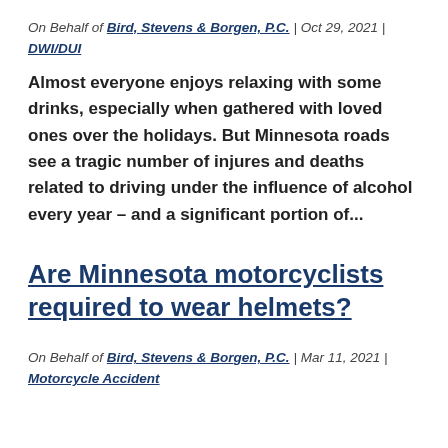On Behalf of Bird, Stevens & Borgen, P.C. | Oct 29, 2021 | DWI/DUI
Almost everyone enjoys relaxing with some drinks, especially when gathered with loved ones over the holidays. But Minnesota roads see a tragic number of injures and deaths related to driving under the influence of alcohol every year – and a significant portion of...
Are Minnesota motorcyclists required to wear helmets?
On Behalf of Bird, Stevens & Borgen, P.C. | Mar 11, 2021 | Motorcycle Accident